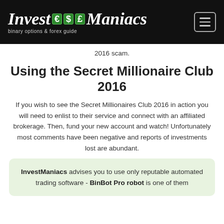InvestManiacs — binary options & forex guide
2016 scam.
Using the Secret Millionaire Club 2016
If you wish to see the Secret Millionaires Club 2016 in action you will need to enlist to their service and connect with an affiliated brokerage. Then, fund your new account and watch! Unfortunately most comments have been negative and reports of investments lost are abundant.
InvestManiacs advises you to use only reputable automated trading software - BinBot Pro robot is one of them